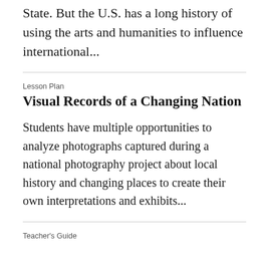State. But the U.S. has a long history of using the arts and humanities to influence international...
Lesson Plan
Visual Records of a Changing Nation
Students have multiple opportunities to analyze photographs captured during a national photography project about local history and changing places to create their own interpretations and exhibits...
Teacher's Guide